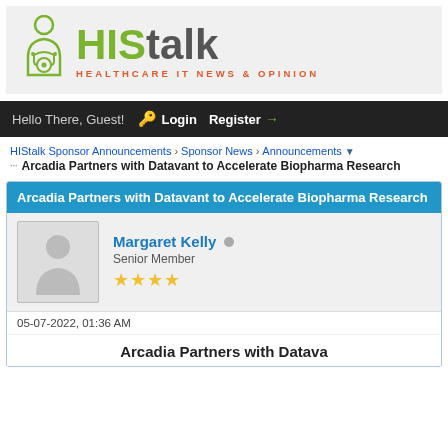[Figure (logo): HIStalk logo with nurse/doctor icon and tagline HEALTHCARE IT NEWS & OPINION]
Hello There, Guest!  Login  Register
HIStalk Sponsor Announcements › Sponsor News › Announcements › Arcadia Partners with Datavant to Accelerate Biopharma Research
Arcadia Partners with Datavant to Accelerate Biopharma Research
Margaret Kelly  Senior Member ★★★★
05-07-2022, 01:36 AM
Arcadia Partners with Dat...